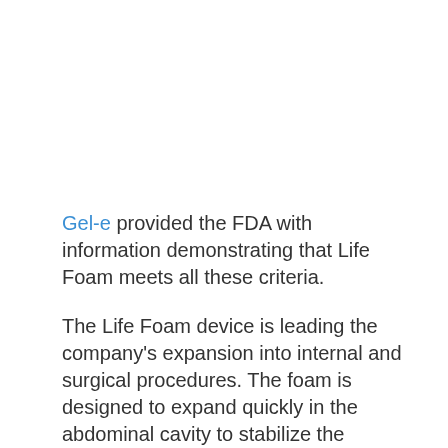Gel-e provided the FDA with information demonstrating that Life Foam meets all these criteria.
The Life Foam device is leading the company’s expansion into internal and surgical procedures. The foam is designed to expand quickly in the abdominal cavity to stabilize the patient, allowing transport to a trauma surgeon.